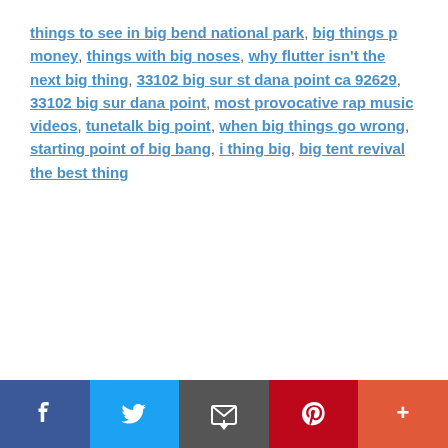things to see in big bend national park, big things p money, things with big noses, why flutter isn't the next big thing, 33102 big sur st dana point ca 92629, 33102 big sur dana point, most provocative rap music videos, tunetalk big point, when big things go wrong, starting point of big bang, i thing big, big tent revival the best thing
[Figure (other): Social media share bar with Facebook, Twitter, Email, Pinterest, and More buttons]